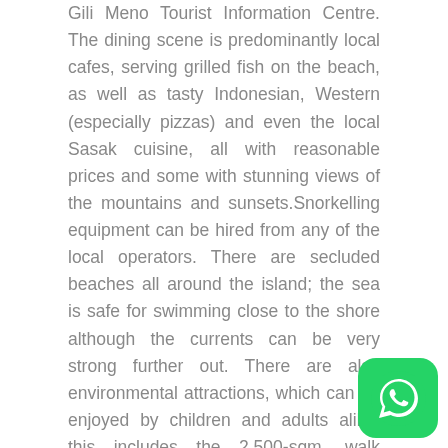Gili Meno Tourist Information Centre. The dining scene is predominantly local cafes, serving grilled fish on the beach, as well as tasty Indonesian, Western (especially pizzas) and even the local Sasak cuisine, all with reasonable prices and some with stunning views of the mountains and sunsets.Snorkelling equipment can be hired from any of the local operators. There are secluded beaches all around the island; the sea is safe for swimming close to the shore although the currents can be very strong further out. There are also environmental attractions, which can be enjoyed by children and adults alike; this includes the 2,500-sqm, walk through, covered bird park with a colourful and exotic collection of species from Asia and Australia, including peafowls, pheasants, hornbills, macaws and parrots. The Bird Park is located inland at Gili Indah Village. Gili Meno is famous for its sea turtles but, without help, the survival of these beautiful creatures is endangered. At the turtle nursery on Meno, the hatchlings are kept in holding tanks until they are large and healthy enough to be released into
[Figure (other): WhatsApp chat button icon in bottom-right corner]